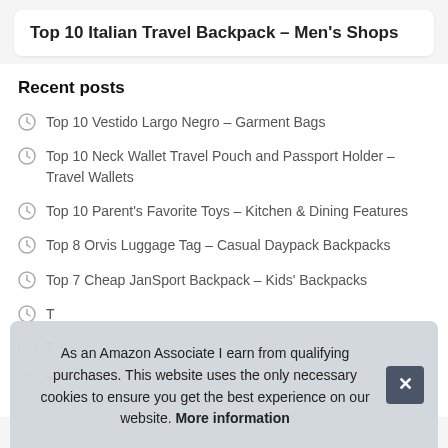Top 10 Italian Travel Backpack – Men's Shops
Recent posts
Top 10 Vestido Largo Negro – Garment Bags
Top 10 Neck Wallet Travel Pouch and Passport Holder – Travel Wallets
Top 10 Parent's Favorite Toys – Kitchen & Dining Features
Top 8 Orvis Luggage Tag – Casual Daypack Backpacks
Top 7 Cheap JanSport Backpack – Kids' Backpacks
T
T
T
As an Amazon Associate I earn from qualifying purchases. This website uses the only necessary cookies to ensure you get the best experience on our website. More information